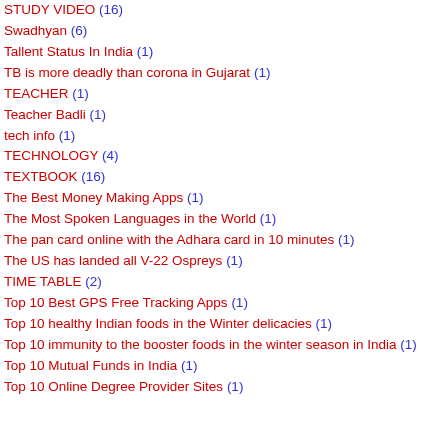STUDY VIDEO (16)
Swadhyan (6)
Tallent Status In India (1)
TB is more deadly than corona in Gujarat (1)
TEACHER (1)
Teacher Badli (1)
tech info (1)
TECHNOLOGY (4)
TEXTBOOK (16)
The Best Money Making Apps (1)
The Most Spoken Languages in the World (1)
The pan card online with the Adhara card in 10 minutes (1)
The US has landed all V-22 Ospreys (1)
TIME TABLE (2)
Top 10 Best GPS Free Tracking Apps (1)
Top 10 healthy Indian foods in the Winter delicacies (1)
Top 10 immunity to the booster foods in the winter season in India (1)
Top 10 Mutual Funds in India (1)
Top 10 Online Degree Provider Sites (1)